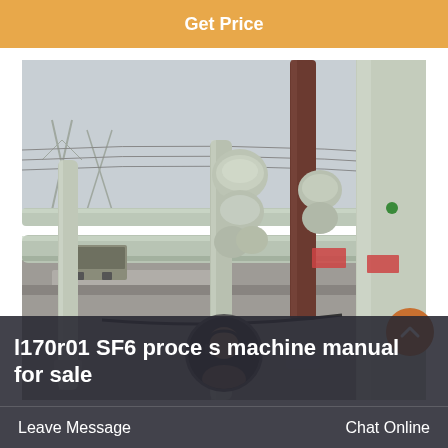Get Price
[Figure (photo): Outdoor electrical substation with SF6 gas-insulated switchgear (GIS), large horizontal pipes/busbars, vertical cylindrical columns, disconnect switches and circuit breaker assemblies on a gravel yard. Overcast sky background with power transmission towers visible in background.]
l170r01 SF6 process machine manual for sale